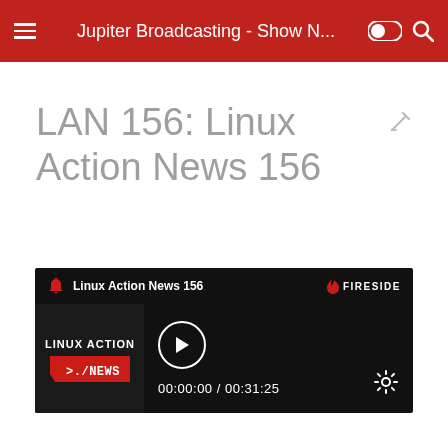Jupiter Broadcasting - Show N...
LAN 156: Linux Action News 156
[Figure (screenshot): Fireside audio player widget showing 'Linux Action News 156' with play button, timestamp 00:00:00 / 00:31:25, Linux Action News artwork, and Fireside branding on dark background]